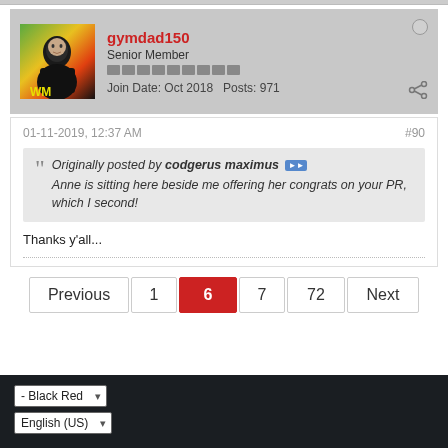gymdad150 | Senior Member | Join Date: Oct 2018 | Posts: 971
01-11-2019, 12:37 AM  #90
Originally posted by codgerus maximus
Anne is sitting here beside me offering her congrats on your PR, which I second!
Thanks y'all...
Previous 1 6 7 72 Next | - Black Red | English (US)